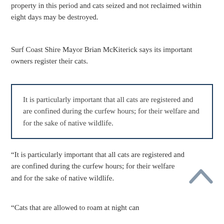property in this period and cats seized and not reclaimed within eight days may be destroyed.
Surf Coast Shire Mayor Brian McKiterick says its important owners register their cats.
It is particularly important that all cats are registered and are confined during the curfew hours; for their welfare and for the sake of native wildlife.
“It is particularly important that all cats are registered and are confined during the curfew hours; for their welfare and for the sake of native wildlife.
“Cats that are allowed to roam at night can